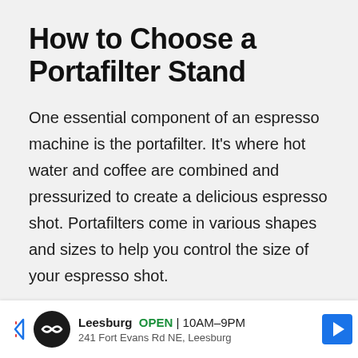How to Choose a Portafilter Stand
One essential component of an espresso machine is the portafilter. It's where hot water and coffee are combined and pressurized to create a delicious espresso shot. Portafilters come in various shapes and sizes to help you control the size of your espresso shot.
[Figure (photo): Close-up photo of an espresso machine portafilter basket on a wooden surface, partially cropped]
Leesburg OPEN 10AM–9PM 241 Fort Evans Rd NE, Leesburg